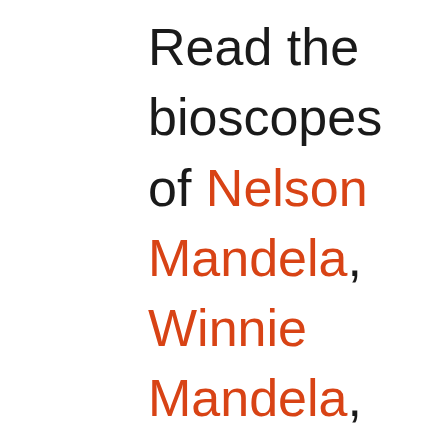charts. Read the bioscopes of Nelson Mandela, Winnie Mandela, Joe Slovo, and Chris Hani, the